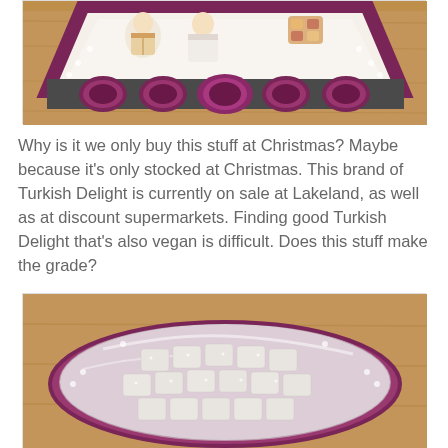[Figure (photo): Top portion of a decorative Turkish Delight gift box with ornate purple/maroon design, featuring illustrated figures in traditional dress and medallion decorations, placed on a wooden surface.]
Why is it we only buy this stuff at Christmas? Maybe because it's only stocked at Christmas. This brand of Turkish Delight is currently on sale at Lakeland, as well as at discount supermarkets. Finding good Turkish Delight that's also vegan is difficult. Does this stuff make the grade?
[Figure (photo): Open Turkish Delight box showing individual white powder-coated Turkish Delight pieces arranged in rows inside a plastic-lined decorative purple/maroon box.]